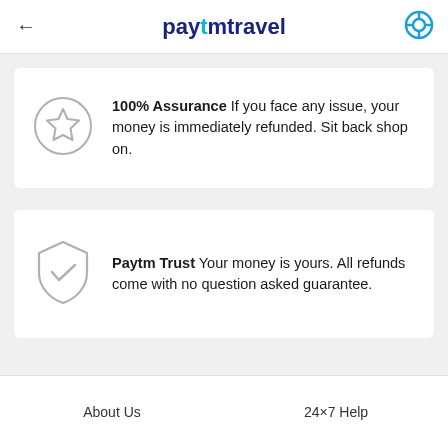paytmtravel
100% Assurance If you face any issue, your money is immediately refunded. Sit back shop on.
Paytm Trust Your money is yours. All refunds come with no question asked guarantee.
About Us   24×7 Help